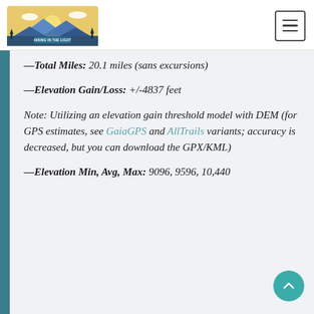HIKING IN THE LIGHT
—Total Miles: 20.1 miles (sans excursions)
—Elevation Gain/Loss: +/-4837 feet
Note: Utilizing an elevation gain threshold model with DEM (for GPS estimates, see GaiaGPS and AllTrails variants; accuracy is decreased, but you can download the GPX/KML)
—Elevation Min, Avg, Max: 9096, 9596, 10,440